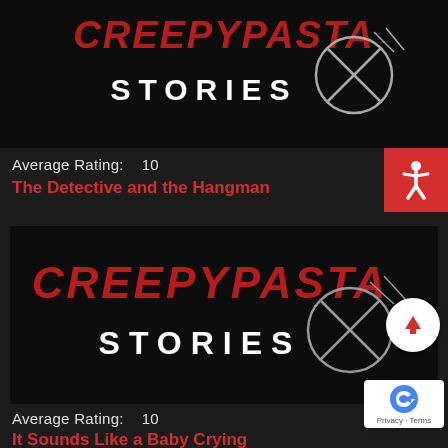[Figure (screenshot): Partial Creepypasta Stories logo on dark background, top card cropped at top]
Average Rating:    10
The Detective and the Hangman
[Figure (screenshot): Creepypasta Stories logo - stylized horror text on dark background]
Average Rating:    10
It Sounds Like a Baby Crying
[Figure (screenshot): Creepypasta Stories - The Basement Stares - partial card at bottom with staircase image]